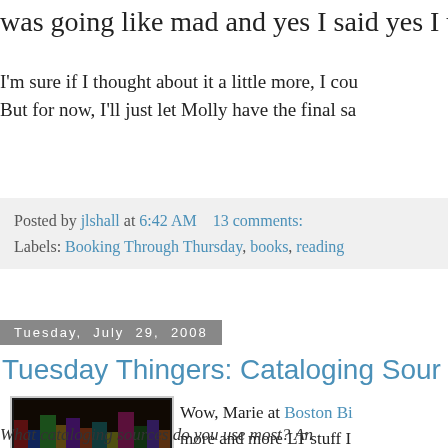was going like mad and yes I said yes I w
I'm sure if I thought about it a little more, I cou
But for now, I'll just let Molly have the final sa
Posted by jlshall at 6:42 AM    13 comments:
Labels: Booking Through Thursday, books, reading
Tuesday, July 29, 2008
Tuesday Thingers: Cataloging Sour
[Figure (photo): Tuesday Thingers logo: books on a shelf with yellow text overlay reading TUESDAY THINGERS]
Wow, Marie at Boston Bi more and more LT stuff I for the Tuesday Thingers
What cataloging sources do you use most? An